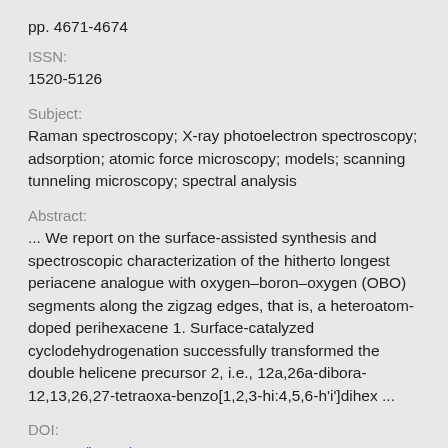pp. 4671-4674
ISSN:
1520-5126
Subject:
Raman spectroscopy; X-ray photoelectron spectroscopy; adsorption; atomic force microscopy; models; scanning tunneling microscopy; spectral analysis
Abstract:
... We report on the surface-assisted synthesis and spectroscopic characterization of the hitherto longest periacene analogue with oxygen–boron–oxygen (OBO) segments along the zigzag edges, that is, a heteroatom-doped perihexacene 1. Surface-catalyzed cyclodehydrogenation successfully transformed the double helicene precursor 2, i.e., 12a,26a-dibora-12,13,26,27-tetraoxa-benzo[1,2,3-hi:4,5,6-h'i']dihex ...
DOI:
10.1021/jacs.7b02258